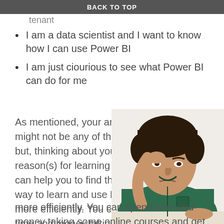BACK TO TOP
tenant
I am a data scientist and I want to know how I can use Power BI
I am just ciourious to see what Power BI can do for me
As mentioned, your answer might not be any of the above, but, thinking about your reason(s) for learning Power BI can help you to find the best way to learn and use Power BI more efficiently. You can spend time and money taking some online courses and get even more confused. You
[Figure (photo): A man in a green corduroy shirt sitting at a table with his hand on his forehead, looking thoughtful or frustrated.]